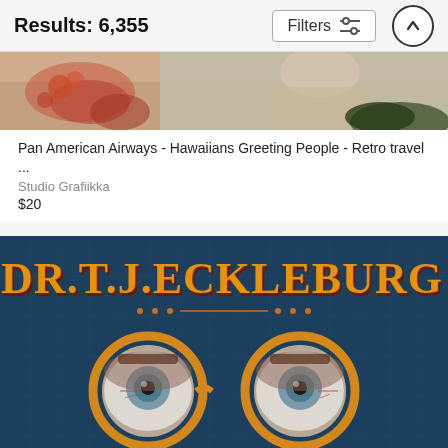Results: 6,355
[Figure (screenshot): Filters button with sliders icon and an up-arrow circular button in the page header]
[Figure (photo): Top portion of a retro travel poster showing Hawaiian imagery with flowers and people]
Pan American Airways - Hawaiians Greeting People - Retro travel ...
Studio Grafiikka
$20
[Figure (illustration): Dr. T.J. Eckleburg poster art showing orange vintage text 'DR.T.J.ECKLEBURG' on a dark blue textured background with two large eyes wearing round orange-rimmed glasses in the style of The Great Gatsby billboard]